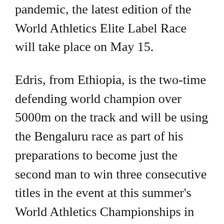pandemic, the latest edition of the World Athletics Elite Label Race will take place on May 15.
Edris, from Ethiopia, is the two-time defending world champion over 5000m on the track and will be using the Bengaluru race as part of his preparations to become just the second man to win three consecutive titles in the event at this summer's World Athletics Championships in Eugene, USA.
He is no stranger to India having made his half marathon debut in the 2020 Delhi Half